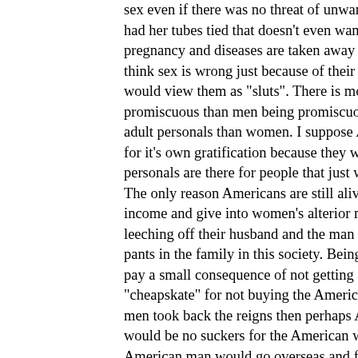sex even if there was no threat of unwanted pregnancy or disease. She had her tubes tied that doesn't even want to have protected sex. So pregnancy and diseases are taken away and she still doesn't want. Women think sex is wrong just because of their religious beliefs and the way society would view them as "sluts". There is more negative stigma towards women being promiscuous than men being promiscuous. I also notice that 100 times more men place adult personals than women. I suppose American women fear sex for it's own gratification because they want to be paid or pampered first. Adult personals are there for people that just want to have sex. The only reason Americans are still alive is that American men are willing to sacrifice income and give into women's alterior motive for having sex. The woman is happy leeching off their husband and the man gets sex. And that is because the woman wears pants in the family in this society. Being a person that rejects this paradigm, you pay a small consequence of not getting any American dates and being called a "cheapskate" for not buying the American woman shoes every day. If American men took back the reigns then perhaps American people would be extinct. There would be no suckers for the American women to exploit and take advantage of. The American man would go overseas and find their soulmates there if they tired of the outside American women. I agree a lot that our Puritanism is dwindling our population. In compared to other countries, we have the lowest birthrates. We have the most single of almost all countries of this earth and that is because the American women don't like sex. The Latins, Asians, and even the Western Europeans have bigger families than the United States of America. They have wives that spend more money on their children and household than their jewelry and clothing. Yes, the overpopulation does make the competition hard as there are more mouths to feed but in the end, the US will dwindle into many single child homes because it takes 2 to make 1 child and this population is going to shrink more. The only thing keeping the US alive are the immigrants that come from other countries. But if they too adopt this prudelike no sex culture, they d...